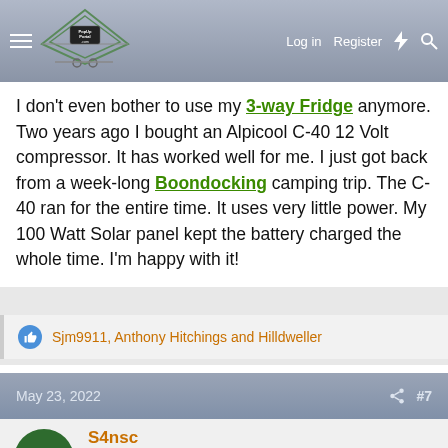PopUpPortal.com — Log in | Register
I don't even bother to use my 3-way Fridge anymore. Two years ago I bought an Alpicool C-40 12 Volt compressor. It has worked well for me. I just got back from a week-long Boondocking camping trip. The C-40 ran for the entire time. It uses very little power. My 100 Watt Solar panel kept the battery charged the whole time. I'm happy with it!
Sjm9911, Anthony Hitchings and Hilldweller
May 23, 2022   #7
S4nsc
Active Member